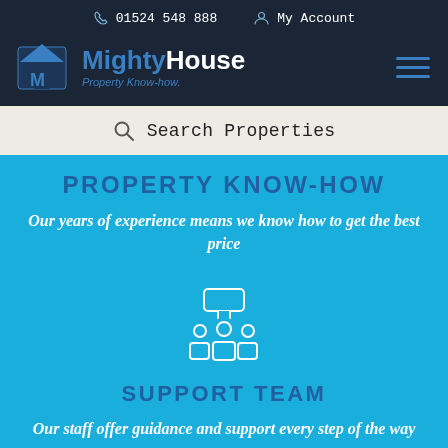01524 548 888   My Account
[Figure (logo): MightyHouse Property Know-how logo with house icon and hamburger menu]
Search Properties
PROPERTY KNOW-HOW
Our years of experience means we know how to get the best price
[Figure (illustration): Support team icon showing three people with speech bubble]
SUPPORT TEAM
Our staff offer guidance and support every step of the way